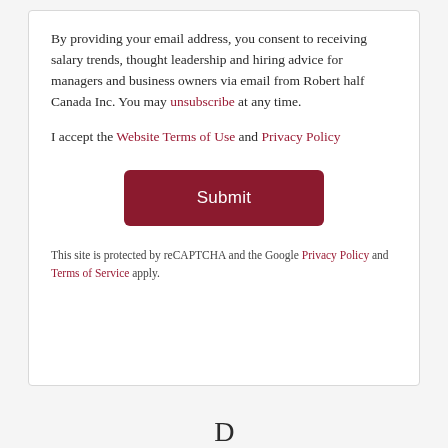By providing your email address, you consent to receiving salary trends, thought leadership and hiring advice for managers and business owners via email from Robert half Canada Inc. You may unsubscribe at any time.
I accept the Website Terms of Use and Privacy Policy
Submit
This site is protected by reCAPTCHA and the Google Privacy Policy and Terms of Service apply.